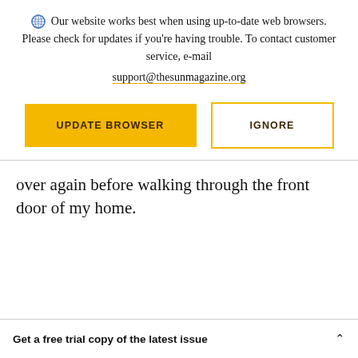Our website works best when using up-to-date web browsers. Please check for updates if you're having trouble. To contact customer service, e-mail support@thesunmagazine.org
[Figure (other): Two buttons: 'UPDATE BROWSER' (yellow filled) and 'IGNORE' (yellow outline)]
over again before walking through the front door of my home.
Get a free trial copy of the latest issue